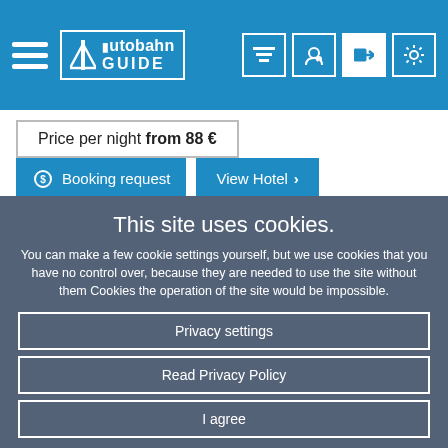Autobahn Guide – navigation header with hamburger menu and icons
Price per night from 88 €
Booking request | View Hotel >
This site uses cookies.
You can make a few cookie settings yourself, but we use cookies that you have no control over, because they are needed to use the site without them Cookies the operation of the site would be impossible.
Privacy settings
Read Privacy Policy
I agree